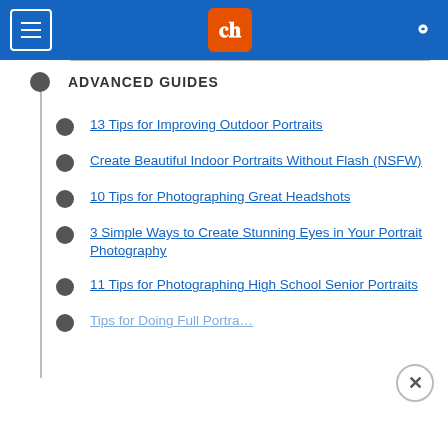[Figure (screenshot): Navigation bar with hamburger menu icon, dPS logo in orange, and search icon on blue background]
ADVANCED GUIDES
13 Tips for Improving Outdoor Portraits
Create Beautiful Indoor Portraits Without Flash (NSFW)
10 Tips for Photographing Great Headshots
3 Simple Ways to Create Stunning Eyes in Your Portrait Photography
11 Tips for Photographing High School Senior Portraits
Tips for Doing Full Portraits…